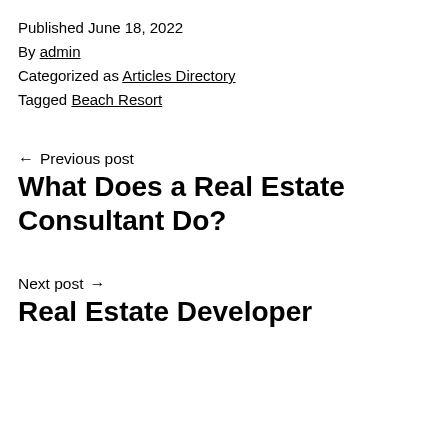Published June 18, 2022
By admin
Categorized as Articles Directory
Tagged Beach Resort
← Previous post
What Does a Real Estate Consultant Do?
Next post →
Real Estate Developer